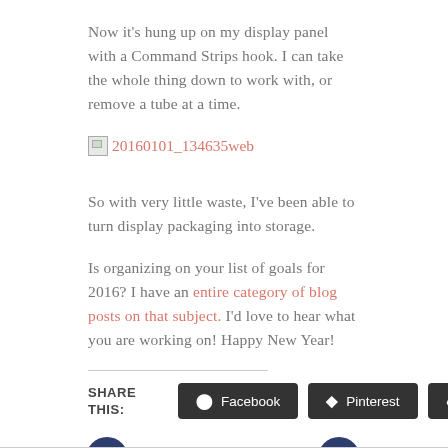Now it's hung up on my display panel with a Command Strips hook. I can take the whole thing down to work with, or remove a tube at a time.
[Figure (photo): Broken image link showing '20160101_134635web' in red/salmon colored text with a broken image icon]
So with very little waste, I've been able to turn display packaging into storage.
Is organizing on your list of goals for 2016? I have an entire category of blog posts on that subject. I'd love to hear what you are working on! Happy New Year!
SHARE THIS:
Facebook  Pinterest  Twitter